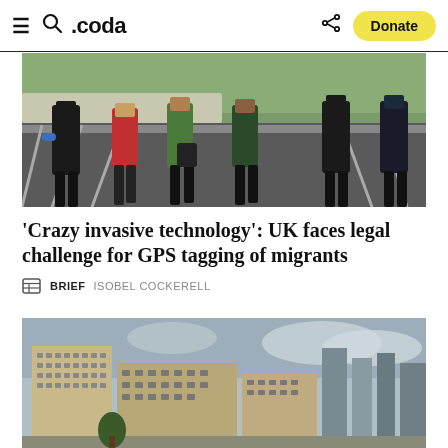≡ 🔍 .coda  < Donate
[Figure (photo): Police officers in black tactical gear escorting migrants across a bridge, with white cliffs visible in the background. One migrant wears a red jacket, another a green jacket.]
'Crazy invasive technology': UK faces legal challenge for GPS tagging of migrants
BRIEF  ISOBEL COCKERELL
[Figure (photo): Cityscape showing multi-storey buildings in a Middle Eastern city under overcast skies, with modern skyscrapers visible in the background.]